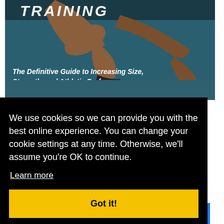[Figure (photo): Book cover image showing athlete legs doing a lunge exercise on a teal/dark blue background. Book title 'TRAINING' visible at top and subtitle 'The Definitive Guide to Increasing Size, Strength, and Athletic Performance' visible on the cover.]
We use cookies so we can provide you with the best online experience. You can change your cookie settings at any time. Otherwise, we'll assume you're OK to continue.
Learn more
Got it!
[Figure (screenshot): Facebook button at the bottom of the page]